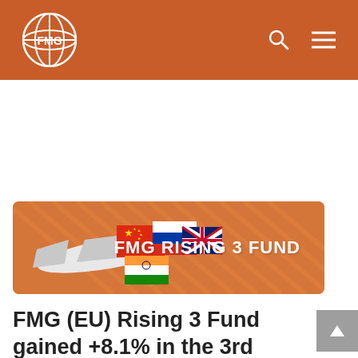FMG
[Figure (illustration): FMG Rising 3 Fund banner with airplane and country flags (China, Russia, India, UK) on orange striped background with text 'FMG RISING 3 FUND']
FMG (EU) Rising 3 Fund gained +8.1% in the 3rd Quarter of 2017
It was a strong quarter for the Fund, helped by the